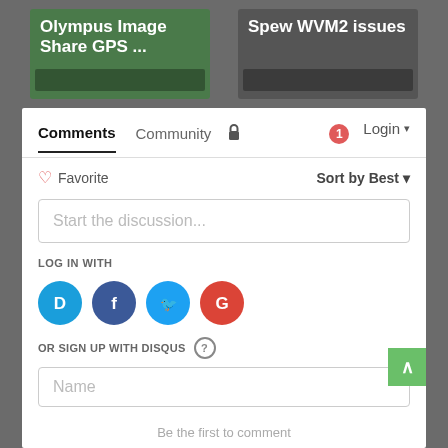[Figure (screenshot): Two thumbnail images side by side: left shows green background with text 'Olympus Image Share GPS ...' and right shows dark background with text 'Spew WVM2 issues']
Comments
Community
Login
Favorite
Sort by Best
Start the discussion...
LOG IN WITH
[Figure (logo): Social login icons: Disqus (blue), Facebook (dark blue), Twitter (light blue), Google (red)]
OR SIGN UP WITH DISQUS
Name
Be the first to comment